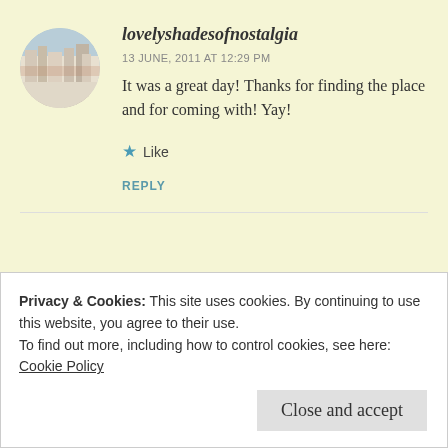lovelyshadesofnostalgia
13 JUNE, 2011 AT 12:29 PM
It was a great day! Thanks for finding the place and for coming with! Yay!
★ Like
REPLY
Privacy & Cookies: This site uses cookies. By continuing to use this website, you agree to their use.
To find out more, including how to control cookies, see here:
Cookie Policy
Close and accept